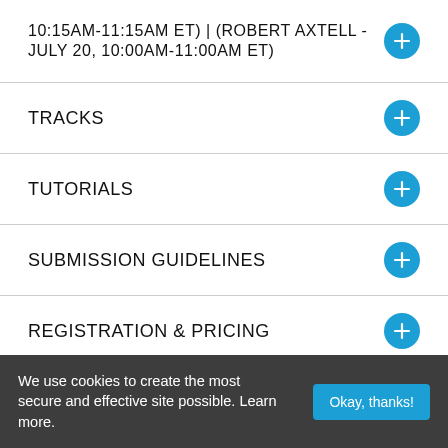10:15AM-11:15AM ET) | (ROBERT AXTELL - JULY 20, 10:00AM-11:00AM ET)
TRACKS
TUTORIALS
SUBMISSION GUIDELINES
REGISTRATION & PRICING
VIRTUAL VENUE
We use cookies to create the most secure and effective site possible. Learn more.
Okay, thanks!